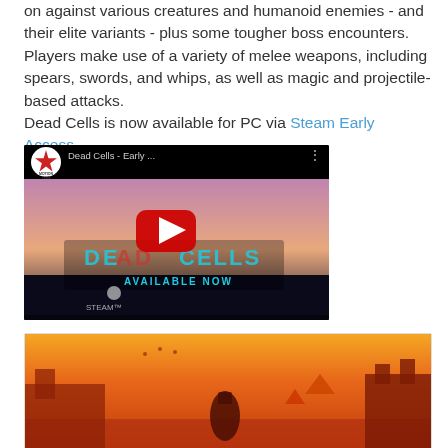on against various creatures and humanoid enemies - and their elite variants - plus some tougher boss encounters. Players make use of a variety of melee weapons, including spears, swords, and whips, as well as magic and projectile-based attacks.
Dead Cells is now available for PC via Steam Early Access.
[Figure (screenshot): YouTube video thumbnail for 'Dead Cells - Early ...' showing game artwork with 'DEAD CELLS - AVAILABLE NOW' text and Steam logo, with Motion Twin logo and YouTube play button overlay]
[Figure (screenshot): Dead Cells promotional image showing silhouetted characters against an orange/red sunset background with castle silhouette]